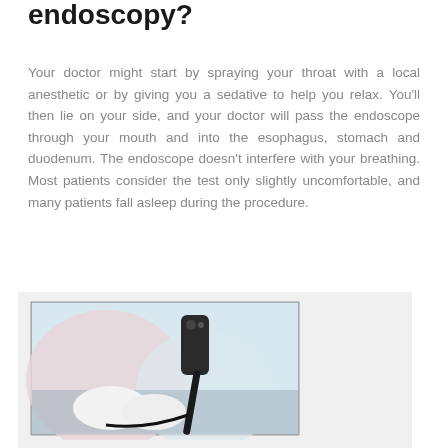endoscopy?
Your doctor might start by spraying your throat with a local anesthetic or by giving you a sedative to help you relax. You'll then lie on your side, and your doctor will pass the endoscope through your mouth and into the esophagus, stomach and duodenum. The endoscope doesn't interfere with your breathing. Most patients consider the test only slightly uncomfortable, and many patients fall asleep during the procedure.
[Figure (photo): A medical professional in a protective gown and white gloves holding an endoscope device.]